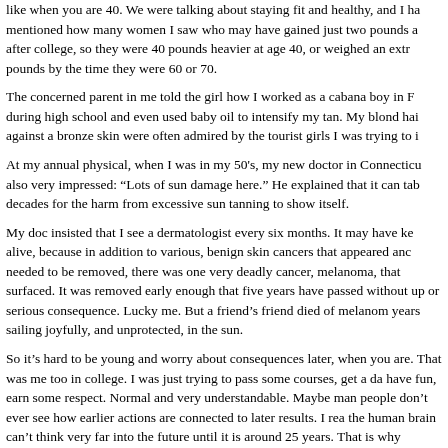like when you are 40. We were talking about staying fit and healthy, and I ha mentioned how many women I saw who may have gained just two pounds a after college, so they were 40 pounds heavier at age 40, or weighed an extr pounds by the time they were 60 or 70.
The concerned parent in me told the girl how I worked as a cabana boy in F during high school and even used baby oil to intensify my tan. My blond hai against a bronze skin were often admired by the tourist girls I was trying to i
At my annual physical, when I was in my 50's, my new doctor in Connecticu also very impressed: "Lots of sun damage here." He explained that it can tab decades for the harm from excessive sun tanning to show itself.
My doc insisted that I see a dermatologist every six months. It may have ke alive, because in addition to various, benign skin cancers that appeared anc needed to be removed, there was one very deadly cancer, melanoma, that surfaced. It was removed early enough that five years have passed without up or serious consequence. Lucky me. But a friend's friend died of melanom years sailing joyfully, and unprotected, in the sun.
So it's hard to be young and worry about consequences later, when you are. That was me too in college. I was just trying to pass some courses, get a da have fun, earn some respect. Normal and very understandable. Maybe man people don't ever see how earlier actions are connected to later results. I rea the human brain can't think very far into the future until it is around 25 years. That is why insurance rates for drivers are so high until age 25. At that time drivers still alive have a bit more "common sense." It's not true when it come eating. Not when one third of the people are obese and another third are overweight.
And it may not be true when it comes to our leaders anticipating internatio